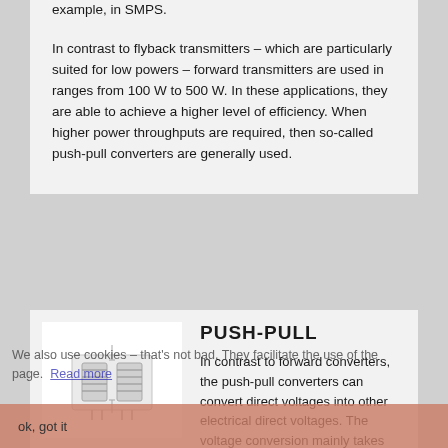example, in SMPS.

In contrast to flyback transmitters – which are particularly suited for low powers – forward transmitters are used in ranges from 100 W to 500 W. In these applications, they are able to achieve a higher level of efficiency. When higher power throughputs are required, then so-called push-pull converters are generally used.
[Figure (photo): Push-pull converter device illustration – small electronic component/transformer unit shown in white box]
PUSH-PULL
In contrast to forward converters, the push-pull converters can convert direct voltages into other electrical direct voltages. The voltage conversion mainly takes place using a high-frequency transformer in the
We also use cookies – that's not bad. They facilitate the use of the page. Read more